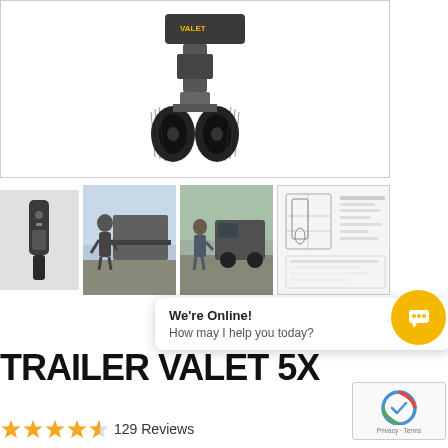[Figure (photo): Main product image of Trailer Valet 5X motorized trailer mover device showing dual wheels and mechanical arm from above on white background]
[Figure (photo): Thumbnail row: remote control device, person maneuvering trailer, person operating trailer valet outdoors, technical diagram/spec sheet]
We're Online! How may I help you today?
TRAILER VALET 5X
★★★★½ 129 Reviews